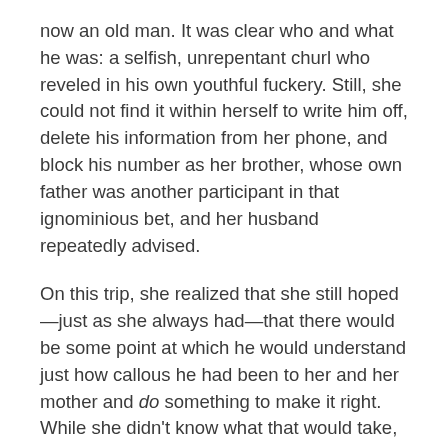now an old man. It was clear who and what he was: a selfish, unrepentant churl who reveled in his own youthful fuckery. Still, she could not find it within herself to write him off, delete his information from her phone, and block his number as her brother, whose own father was another participant in that ignominious bet, and her husband repeatedly advised.
On this trip, she realized that she still hoped—just as she always had—that there would be some point at which he would understand just how callous he had been to her and her mother and do something to make it right. While she didn't know what that would take, she still harbored some sliver of hope that he wasn't just an unreconstructed cunt of no redemptive potential.
But back at the hotel, it was clear that she had seen the bottom of his soul and there was no reason to look further. Hearing him call his first granddaughter a pig,